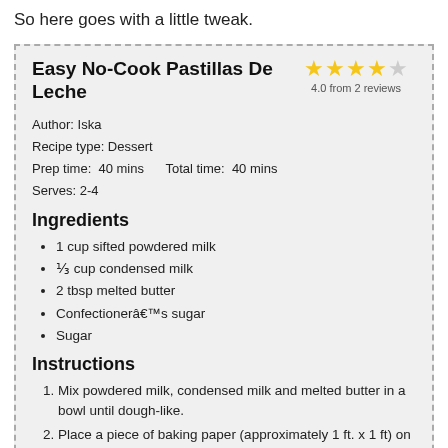So here goes with a little tweak.
Easy No-Cook Pastillas De Leche
4.0 from 2 reviews
Author: Iska
Recipe type: Dessert
Prep time: 40 mins    Total time: 40 mins
Serves: 2-4
Ingredients
1 cup sifted powdered milk
⅓ cup condensed milk
2 tbsp melted butter
Confectionerâ€™s sugar
Sugar
Instructions
Mix powdered milk, condensed milk and melted butter in a bowl until dough-like.
Place a piece of baking paper (approximately 1 ft. x 1 ft) on a flat surface. Dust with confectionerâ€™s sugar. Using a spatula spread the mixture on the baking paper until square-ish. Flatten with a rolling pin or just use your spatula until